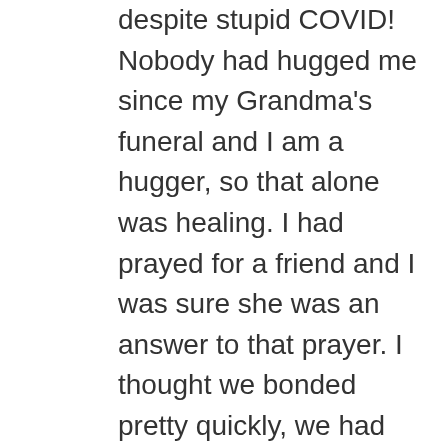despite stupid COVID! Nobody had hugged me since my Grandma's funeral and I am a hugger, so that alone was healing. I had prayed for a friend and I was sure she was an answer to that prayer. I thought we bonded pretty quickly, we had so much in common. She would invite me to come see her sometimes when she was performing. And as dumb as it sounds, when I watched her perform or talked to her all of the anxiety and grief and guilt I was always carrying around with me would go away for a little while. I described her once as the eye in my storm. The calm little break in the middle of a catastrophe. She made me feel safe. I was so grateful to have met her. She had her own struggles with anxiety, so I felt like she understood me. She told me once I